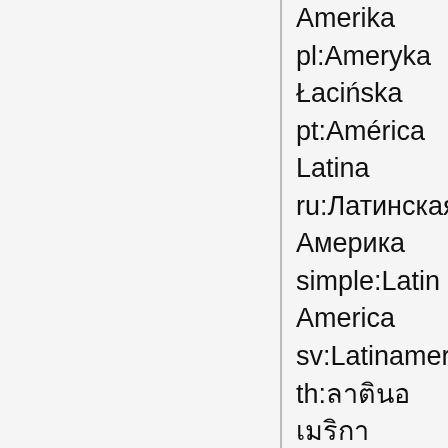Amerika
pl:Ameryka Łacińska
pt:América Latina
ru:Латинская Америка
simple:Latin America
sv:Latinamerika
th:ลาตินอเมริกา
zh:拉丁美洲